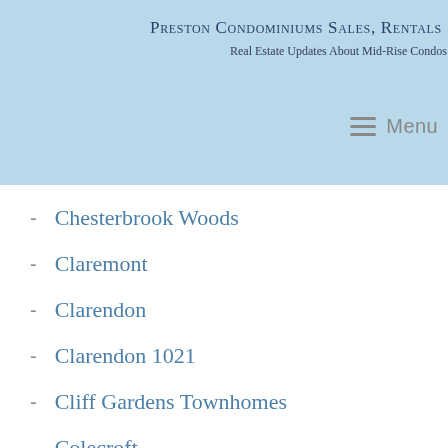Preston Condominiums Sales, Rentals
Real Estate Updates About Mid-Rise Condos I
Chesterbrook Woods
Claremont
Clarendon
Clarendon 1021
Cliff Gardens Townhomes
Colecroft
Colecroft Station